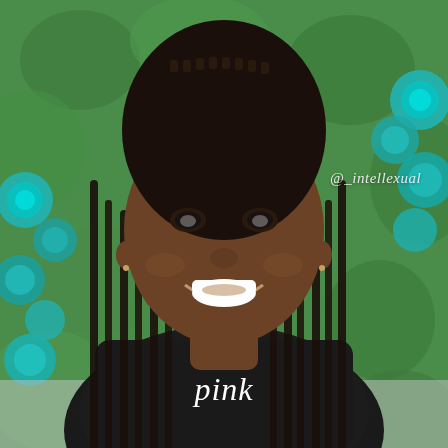[Figure (photo): Portrait photo of a young Black woman with long box braids, smiling broadly, wearing a black 'pink' branded sweatshirt. She is posed against a backdrop of green foliage wall with teal/blue flowers. A watermark '@_intellexual' appears in white italic text in the upper-right area of the image.]